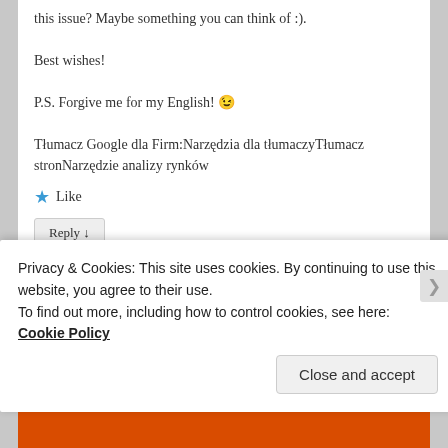this issue? Maybe something you can think of :).
Best wishes!
P.S. Forgive me for my English! 😉
Tłumacz Google dla Firm:Narzędzia dla tłumaczyTłumacz stronNarzędzie analizy rynków
★ Like
Reply ↓
esmeelafleur on September 4, 2016 at 12:47 PM said:
Privacy & Cookies: This site uses cookies. By continuing to use this website, you agree to their use.
To find out more, including how to control cookies, see here: Cookie Policy
Close and accept